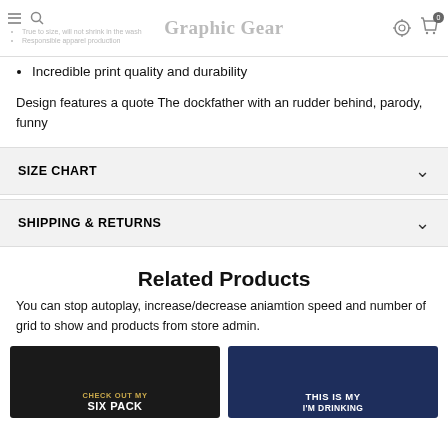Graphic Gear
True to size, will not shrink in the wash
Responsible apparel production
Incredible print quality and durability
Design features a quote The dockfather with an rudder behind, parody, funny
SIZE CHART
SHIPPING & RETURNS
Related Products
You can stop autoplay, increase/decrease aniamtion speed and number of grid to show and products from store admin.
[Figure (photo): Two product t-shirts partially visible at bottom: a black t-shirt with text 'CHECK OUT MY SIX PACK' and a navy t-shirt with text 'THIS IS MY I'M DRINKING']